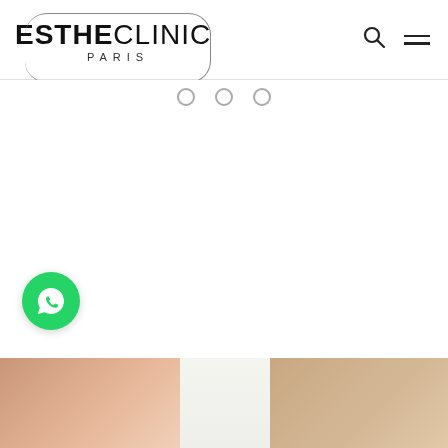ESTHECLINIC PARIS
[Figure (logo): EstheClinic Paris logo with rounded rectangle border, bold ESTHE and light CLINIC text, PARIS subtitle]
[Figure (infographic): Three navigation dots/circles in a row near top center]
[Figure (other): Green WhatsApp floating button with chat bubble icon on the left side]
[Figure (photo): Partial photo at the bottom showing skin/body treatment scene, cropped]